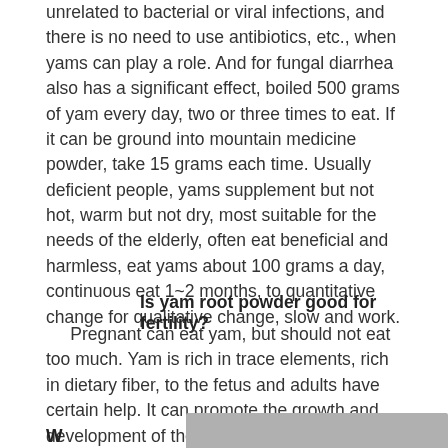unrelated to bacterial or viral infections, and there is no need to use antibiotics, etc., when yams can play a role. And for fungal diarrhea also has a significant effect, boiled 500 grams of yam every day, two or three times to eat. If it can be ground into mountain medicine powder, take 15 grams each time. Usually deficient people, yams supplement but not hot, warm but not dry, most suitable for the needs of the elderly, often eat beneficial and harmless, eat yams about 100 grams a day, continuous eat 1~2 months, to quantitative change for qualitative change, slow and work.
Is yam root powder good for fertility?
Pregnant can eat yam, but should not eat too much. Yam is rich in trace elements, rich in dietary fiber, to the fetus and adults have certain help. It can promote the growth and development of the fetus, but also can alleviate the mother's constipation.
What can I use yam